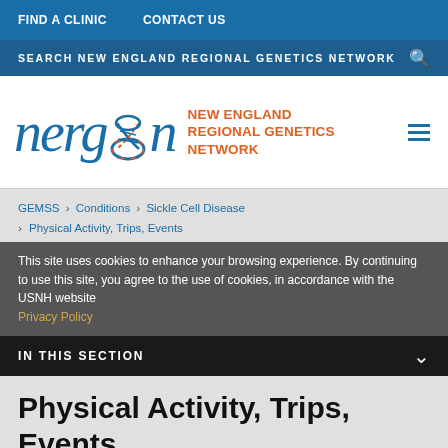FIND A CLINIC   CONTACT US
SEARCH NEW ENGLAND REGIONAL GENETICS NETWORK
[Figure (logo): NERGN logo — stylized italic 'nergn' in blue with a DNA double helix icon, followed by 'NEW ENGLAND REGIONAL GENETICS NETWORK' in orange text]
GEMSS › Conditions › Sickle Cell Disease › Physical Activity, Trips, Events
This site uses cookies to enhance your browsing experience. By continuing to use this site, you agree to the use of cookies, in accordance with the USNH website Privacy Policy
IN THIS SECTION
Physical Activity, Trips, Events
What you need to know